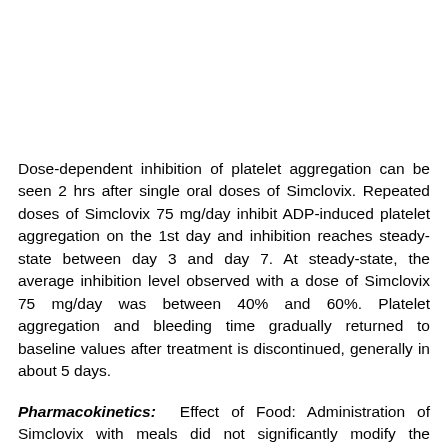Dose-dependent inhibition of platelet aggregation can be seen 2 hrs after single oral doses of Simclovix. Repeated doses of Simclovix 75 mg/day inhibit ADP-induced platelet aggregation on the 1st day and inhibition reaches steady-state between day 3 and day 7. At steady-state, the average inhibition level observed with a dose of Simclovix 75 mg/day was between 40% and 60%. Platelet aggregation and bleeding time gradually returned to baseline values after treatment is discontinued, generally in about 5 days.
Pharmacokinetics: Effect of Food: Administration of Simclovix with meals did not significantly modify the bioavailability of Simclovix as assessed by the pharmacokinetics of the main circulating metabolite.